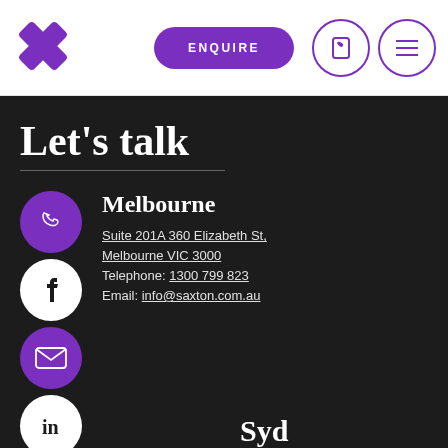[Figure (logo): Purple X logo mark in top left header]
[Figure (screenshot): Purple ENQUIRE button with rounded pill shape in header]
[Figure (logo): Purple circle with phone icon and purple circle with hamburger menu icon in header]
Let's talk
[Figure (illustration): Purple circle with phone icon, white circle with Facebook f icon, purple circle with email envelope icon, white circle with LinkedIn in icon — vertical column of social/contact icons]
Melbourne
Suite 201A 360 Elizabeth St,
Melbourne VIC 3000
Telephone: 1300 799 823
Email: info@saxton.com.au
Syd